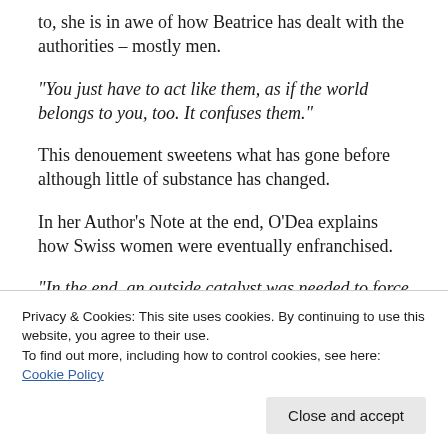to, she is in awe of how Beatrice has dealt with the authorities – mostly men.
“You just have to act like them, as if the world belongs to you, too. It confuses them.”
This denouement sweetens what has gone before although little of substance has changed.
In her Author’s Note at the end, O’Dea explains how Swiss women were eventually enfranchised.
“In the end, an outside catalyst was needed to force the
Privacy & Cookies: This site uses cookies. By continuing to use this website, you agree to their use.
To find out more, including how to control cookies, see here: Cookie Policy
Close and accept
concerning women’s political rights.